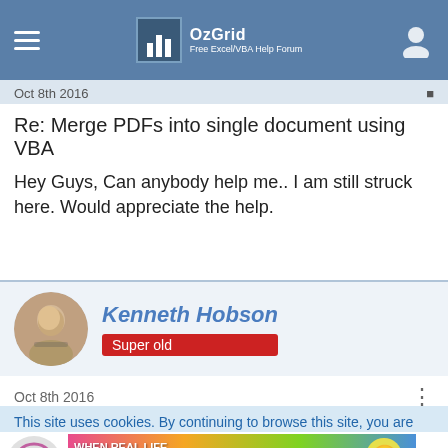OzGrid — Free Excel/VBA Help Forum
Oct 8th 2016
Re: Merge PDFs into single document using VBA
Hey Guys, Can anybody help me.. I am still struck here. Would appreciate the help.
Kenneth Hobson
Super old
Oct 8th 2016
Re: Merge PDFs into single document using VBA
This site uses cookies. By continuing to browse this site, you are
[Figure (photo): BitLife advertisement banner with rainbow background and text 'When Real Life Is Quarantined' and BitLife logo]